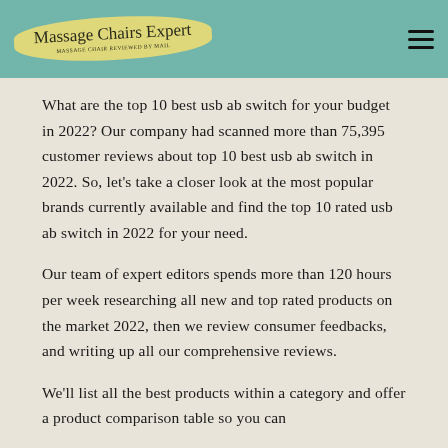Massage Chairs Expert
What are the top 10 best usb ab switch for your budget in 2022? Our company had scanned more than 75,395 customer reviews about top 10 best usb ab switch in 2022. So, let's take a closer look at the most popular brands currently available and find the top 10 rated usb ab switch in 2022 for your need.
Our team of expert editors spends more than 120 hours per week researching all new and top rated products on the market 2022, then we review consumer feedbacks, and writing up all our comprehensive reviews.
We'll list all the best products within a category and offer a product comparison table so you can